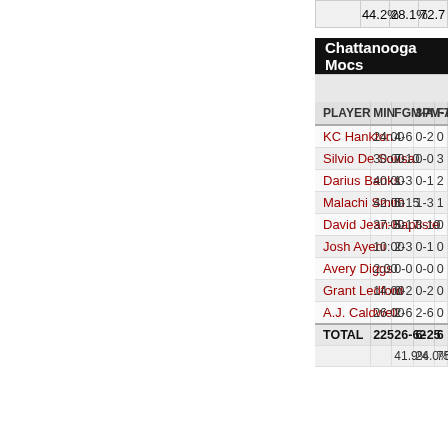|  |  | 44.2% | 28.1% | 72.7% |
| --- | --- | --- | --- | --- |
Chattanooga Mocs
| PLAYER | MIN | FGM-A | 3PM-A | FTM- |
| --- | --- | --- | --- | --- |
| KC Hankton | 24:00 | 4-6 | 0-2 | 0 |
| Silvio De Sousa | 30:00 | 7-10 | 0-0 | 3 |
| Darius Banks | 40:00 | 1-3 | 0-1 | 2 |
| Malachi Smith | 42:00 | 5-15 | 1-3 | 1 |
| David Jean-Baptiste | 37:00 | 5-17 | 3-10 | 0 |
| Josh Ayeni | 10:00 | 2-3 | 0-1 | 0 |
| Avery Diggs | 2:00 | 0-0 | 0-0 | 0 |
| Grant Ledford | 14:00 | 0-2 | 0-2 | 0 |
| A.J. Caldwell | 26:00 | 2-6 | 2-6 | 0 |
| TOTAL | 225 | 26-62 | 6-25 | 6 |
|  |  | 41.9% | 24.0% | 75.0 |